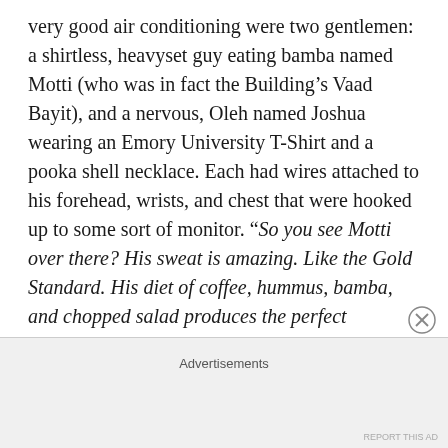very good air conditioning were two gentlemen: a shirtless, heavyset guy eating bamba named Motti (who was in fact the Building's Vaad Bayit), and a nervous, Oleh named Joshua wearing an Emory University T-Shirt and a pooka shell necklace. Each had wires attached to his forehead, wrists, and chest that were hooked up to some sort of monitor. “So you see Motti over there? His sweat is amazing. Like the Gold Standard. His diet of coffee, hummus, bamba, and chopped salad produces the perfect mix.....On the other hand, Joshua is still sweating like a Galut.... Now watch this.....”
Advertisements